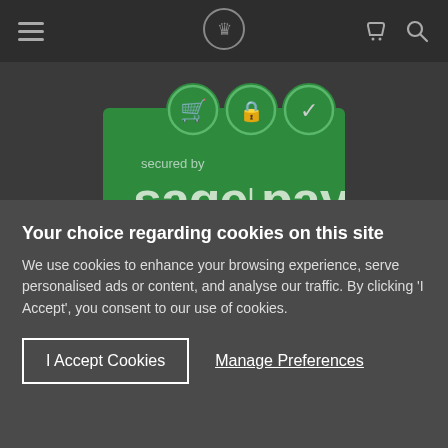[Figure (screenshot): Website header with hamburger menu, crown logo, phone and search icons on dark background]
[Figure (logo): Sage Pay secured payment logo on green background with shopping cart, lock, and checkmark icons]
[Figure (infographic): Three British Travel Awards badges: Bronze 2016 Best UK Self Catering Holiday Booking Company, Southern Winner 2019 Best UK Cottage Holiday Company, Silver Small 2020 Best UK Self Catering / Cottage Holiday Company]
Your choice regarding cookies on this site
We use cookies to enhance your browsing experience, serve personalised ads or content, and analyse our traffic. By clicking 'I Accept', you consent to our use of cookies.
I Accept Cookies
Manage Preferences